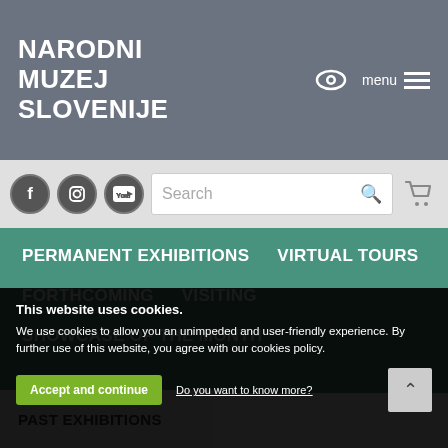NARODNI MUZEJ SLOVENIJE
[Figure (screenshot): Website screenshot of Narodni Muzej Slovenije (National Museum of Slovenia) showing navigation menu with Permanent Exhibitions, Virtual Tours, Forthcoming, Visiting, Showcase of the Month, Past Exhibitions, and a cookie consent banner.]
This website uses cookies.
We use cookies to allow you an unimpeded and user-friendly experience. By further use of this website, you agree with our cookies policy.
Accept and continue
Do you want to know more?